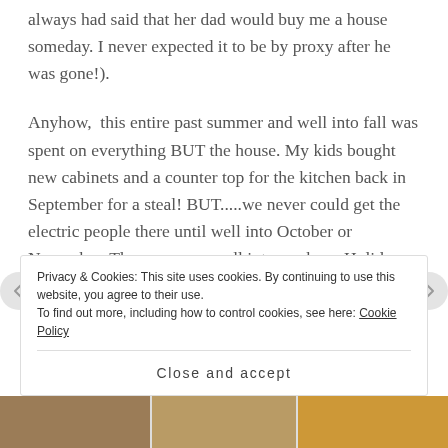always had said that her dad would buy me a house someday. I never expected it to be by proxy after he was gone!).
Anyhow, this entire past summer and well into fall was spent on everything BUT the house. My kids bought new cabinets and a counter top for the kitchen back in September for a steal! BUT.....we never could get the electric people there until well into October or November. Then we were well into our busy Holiday time and it was way too cold to really do much work on the house. The poor kitchen
Privacy & Cookies: This site uses cookies. By continuing to use this website, you agree to their use. To find out more, including how to control cookies, see here: Cookie Policy
Close and accept
[Figure (photo): Bottom strip showing partial view of indoor photos in warm tones]